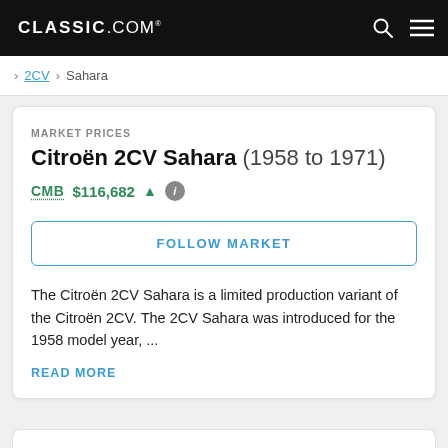CLASSIC.COM
> 2CV > Sahara
MARKET PRICES
Citroën 2CV Sahara (1958 to 1971)
CMB $116,682 ↑
FOLLOW MARKET
The Citroën 2CV Sahara is a limited production variant of the Citroën 2CV. The 2CV Sahara was introduced for the 1958 model year, ...
READ MORE